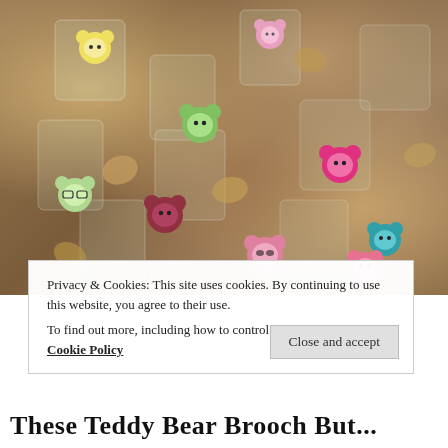[Figure (photo): Overhead photo of many colorful cartoon bear-shaped charms or buttons, each individually wrapped in small clear plastic bags, scattered on a wooden surface. The charms depict various cute bear characters in different colors and styles.]
Privacy & Cookies: This site uses cookies. By continuing to use this website, you agree to their use.
To find out more, including how to control cookies, see here: Cookie Policy
Close and accept
These Teddy Bear Brooch But...